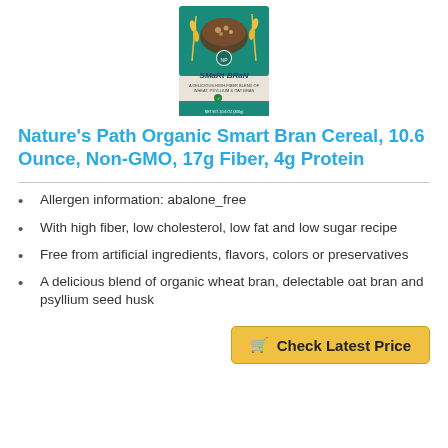[Figure (photo): Product image of Nature's Path Organic Smart Bran Cereal box with teal/green top and white bottom, showing cereal bowl and wheat graphics.]
Nature's Path Organic Smart Bran Cereal, 10.6 Ounce, Non-GMO, 17g Fiber, 4g Protein
Allergen information: abalone_free
With high fiber, low cholesterol, low fat and low sugar recipe
Free from artificial ingredients, flavors, colors or preservatives
A delicious blend of organic wheat bran, delectable oat bran and psyllium seed husk
Check Latest Price